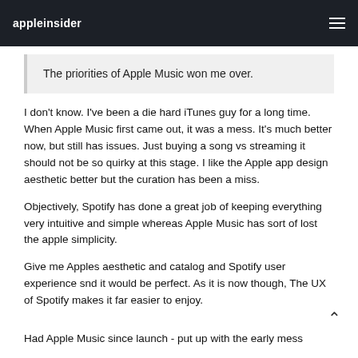appleinsider
The priorities of Apple Music won me over.
I don't know. I've been a die hard iTunes guy for a long time. When Apple Music first came out, it was a mess. It's much better now, but still has issues. Just buying a song vs streaming it should not be so quirky at this stage. I like the Apple app design aesthetic better but the curation has been a miss.
Objectively, Spotify has done a great job of keeping everything very intuitive and simple whereas Apple Music has sort of lost the apple simplicity.
Give me Apples aesthetic and catalog and Spotify user experience snd it would be perfect. As it is now though, The UX of Spotify makes it far easier to enjoy.
Had Apple Music since launch - put up with the early mess